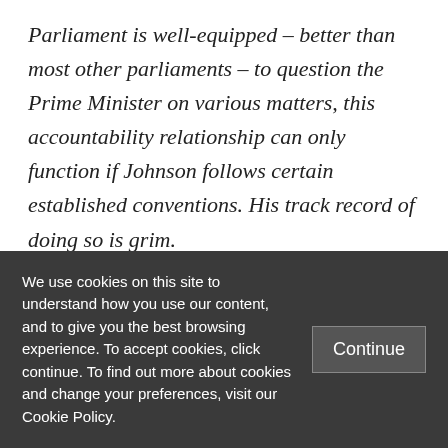Parliament is well-equipped – better than most other parliaments – to question the Prime Minister on various matters, this accountability relationship can only function if Johnson follows certain established conventions. His track record of doing so is grim.
With the Conservative Party winning a commanding majority in the House of
We use cookies on this site to understand how you use our content, and to give you the best browsing experience. To accept cookies, click continue. To find out more about cookies and change your preferences, visit our Cookie Policy.